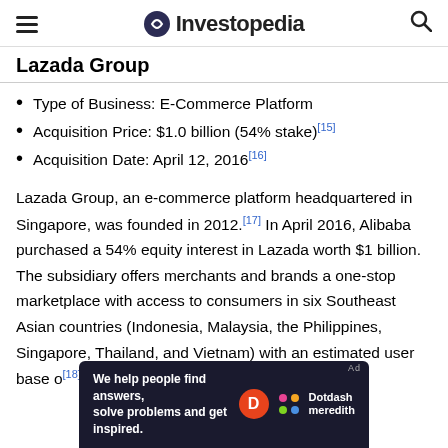Investopedia
Lazada Group
Type of Business: E-Commerce Platform
Acquisition Price: $1.0 billion (54% stake)[15]
Acquisition Date: April 12, 2016[16]
Lazada Group, an e-commerce platform headquartered in Singapore, was founded in 2012.[17] In April 2016, Alibaba purchased a 54% equity interest in Lazada worth $1 billion. The subsidiary offers merchants and brands a one-stop marketplace with access to consumers in six Southeast Asian countries (Indonesia, Malaysia, the Philippines, Singapore, Thailand, and Vietnam) with an estimated user base o[18]
[Figure (other): Dotdash Meredith advertisement banner: 'We help people find answers, solve problems and get inspired.']